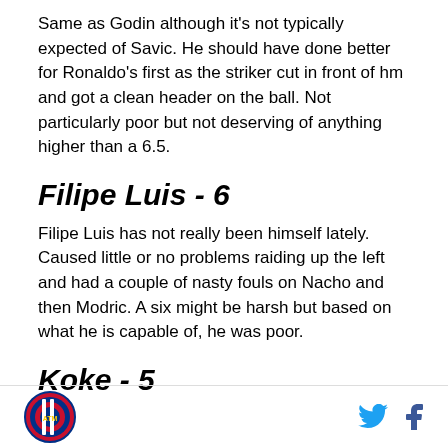Same as Godin although it's not typically expected of Savic. He should have done better for Ronaldo's first as the striker cut in front of hm and got a clean header on the ball. Not particularly poor but not deserving of anything higher than a 6.5.
Filipe Luis - 6
Filipe Luis has not really been himself lately. Caused little or no problems raiding up the left and had a couple of nasty fouls on Nacho and then Modric. A six might be harsh but based on what he is capable of, he was poor.
Koke - 5